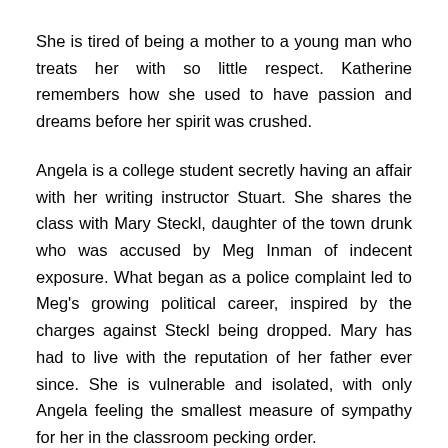She is tired of being a mother to a young man who treats her with so little respect. Katherine remembers how she used to have passion and dreams before her spirit was crushed.
Angela is a college student secretly having an affair with her writing instructor Stuart. She shares the class with Mary Steckl, daughter of the town drunk who was accused by Meg Inman of indecent exposure. What began as a police complaint led to Meg's growing political career, inspired by the charges against Steckl being dropped. Mary has had to live with the reputation of her father ever since. She is vulnerable and isolated, with only Angela feeling the smallest measure of sympathy for her in the classroom pecking order.
When a young woman is assaulted, the perception of